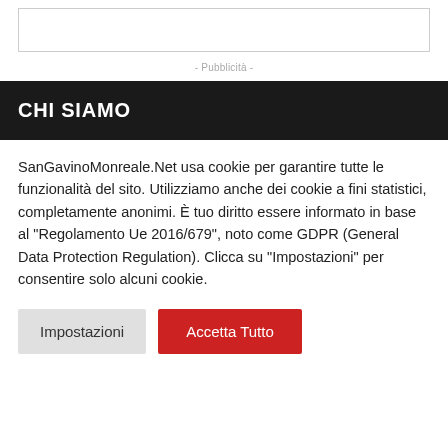[Figure (other): Empty white box with border at the top of the page]
- Pubblicità -
CHI SIAMO
SanGavinoMonreale.Net usa cookie per garantire tutte le funzionalità del sito. Utilizziamo anche dei cookie a fini statistici, completamente anonimi. È tuo diritto essere informato in base al "Regolamento Ue 2016/679", noto come GDPR (General Data Protection Regulation). Clicca su "Impostazioni" per consentire solo alcuni cookie.
Impostazioni   Accetta Tutto